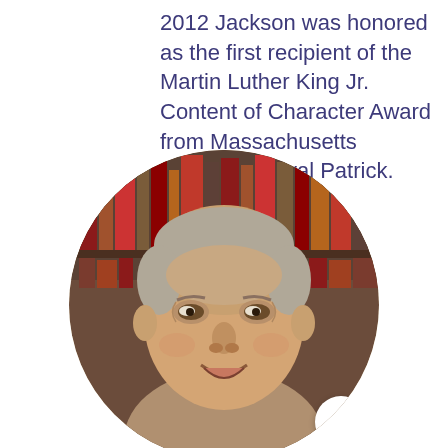2012 Jackson was honored as the first recipient of the Martin Luther King Jr. Content of Character Award from Massachusetts Governor Duval Patrick.
[Figure (photo): Circular cropped portrait photo of an older man with gray hair, smiling, seated in front of a bookshelf filled with books. A white circular scroll-to-top button with an upward chevron arrow appears in the lower right of the circular image.]